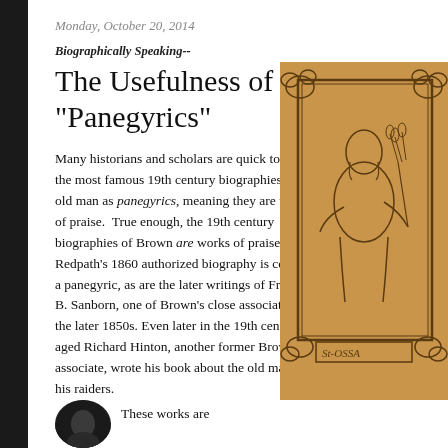Monday, October 20, 2014
Biographically Speaking--
The Usefulness of "Panegyrics"
Many historians and scholars are quick to label the most famous 19th century biographies of the old man as panegyrics, meaning they are works of praise.  True enough, the 19th century biographies of Brown are works of praise--Redpath's 1860 authorized biography is certainly a panegyric, as are the later writings of Franklin B. Sanborn, one of Brown's close associates from the later 1850s. Even later in the 19th century, the aged Richard Hinton, another former Brown associate, wrote his book about the old man and his raiders.
[Figure (illustration): An old illustrated image on tan/sepia paper showing a figure (likely John Brown) holding wheat or grain, framed in a decorative border with partially visible text 'St-OSSA' at the bottom.]
[Figure (photo): A circular portrait photo (partially visible) at the bottom left, appearing to show a man's face.]
These works are